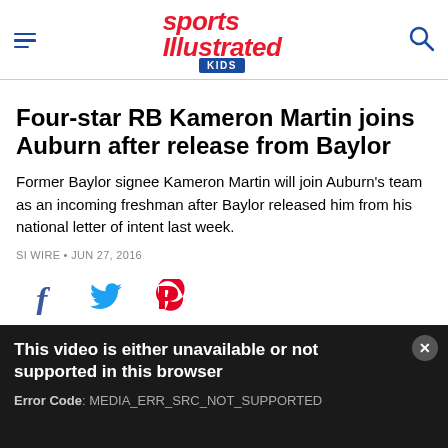Sports Illustrated Kids
Four-star RB Kameron Martin joins Auburn after release from Baylor
Former Baylor signee Kameron Martin will join Auburn's team as an incoming freshman after Baylor released him from his national letter of intent last week.
SI WIRE • JUN 27, 2016
[Figure (infographic): Social sharing icons: Facebook (blue f), Twitter (blue bird), Pinterest (red P)]
[Figure (screenshot): Video player error box with dark background showing: 'This video is either unavailable or not supported in this browser' and 'Error Code: MEDIA_ERR_SRC_NOT_SUPPORTED']